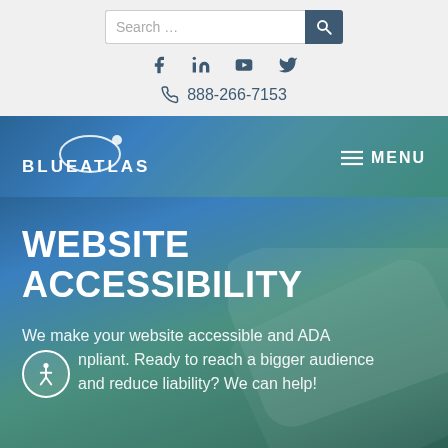[Figure (screenshot): Search bar with text input field reading 'Search ...' and a dark blue search button with magnifying glass icon]
[Figure (infographic): Social media icons row: Facebook (f), LinkedIn (in), YouTube (play button), Twitter (bird)]
888-266-7153
[Figure (logo): Blue Atlas logo: stylized orbit/arc graphic with circle, text reads BLUE ATLAS in white uppercase letters]
MENU
WEBSITE ACCESSIBILITY
We make your website accessible and ADA compliant. Ready to reach a bigger audience and reduce liability? We can help!